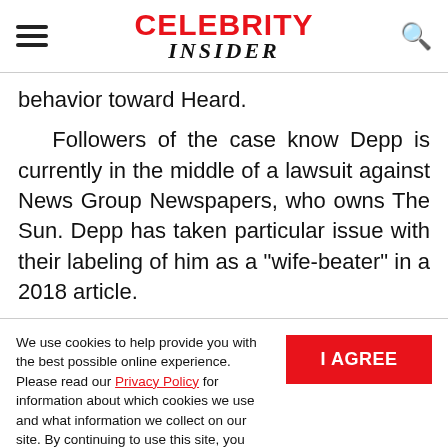CELEBRITY INSIDER
behavior toward Heard.

Followers of the case know Depp is currently in the middle of a lawsuit against News Group Newspapers, who owns The Sun. Depp has taken particular issue with their labeling of him as a "wife-beater" in a 2018 article.
We use cookies to help provide you with the best possible online experience. Please read our Privacy Policy for information about which cookies we use and what information we collect on our site. By continuing to use this site, you agree that we may store and access cookies on your device.